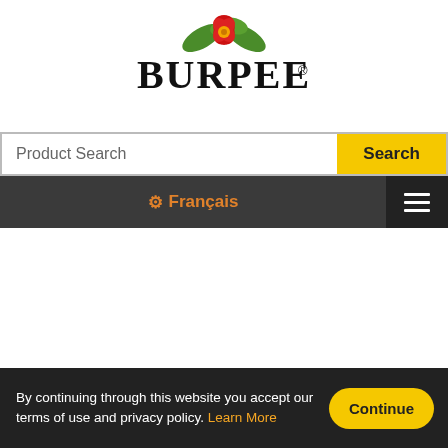[Figure (logo): Burpee logo with red hibiscus flower and green leaves above bold serif text reading BURPEE with registered trademark symbol]
Product Search
Search
Français
Blog
By continuing through this website you accept our terms of use and privacy policy. Learn More